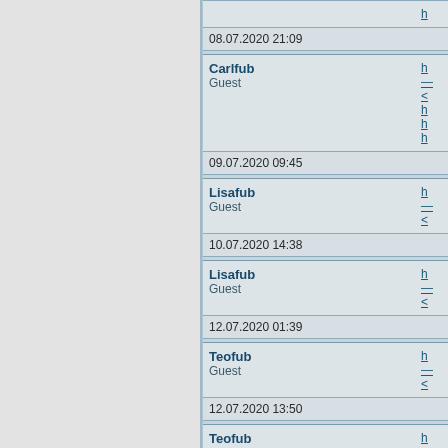| Author | Content/Link | Timestamp |
| --- | --- | --- |
|  | h... | 08.07.2020 21:09 |
| Carlfub
Guest | h...
<
h
h
h | 09.07.2020 09:45 |
| Lisafub
Guest | h...
< | 10.07.2020 14:38 |
| Lisafub
Guest | h...
< | 12.07.2020 01:39 |
| Teofub
Guest | h...
< | 12.07.2020 13:50 |
| Teofub
Guest | h...
< | 13.07.2020 11:58 |